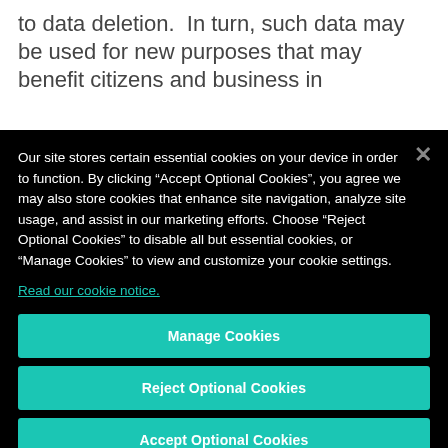to data deletion.  In turn, such data may be used for new purposes that may benefit citizens and business in
Our site stores certain essential cookies on your device in order to function. By clicking “Accept Optional Cookies”, you agree we may also store cookies that enhance site navigation, analyze site usage, and assist in our marketing efforts. Choose “Reject Optional Cookies” to disable all but essential cookies, or “Manage Cookies” to view and customize your cookie settings.
Read our cookie notice.
Manage Cookies
Reject Optional Cookies
Accept Optional Cookies